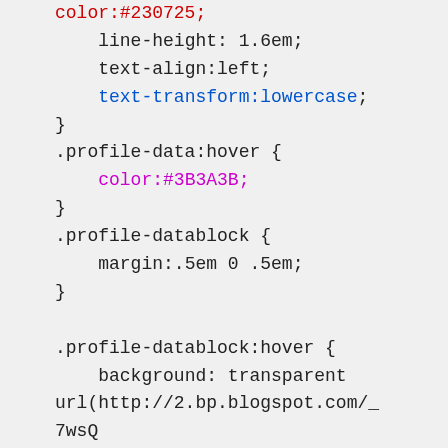color:#230725;
    line-height: 1.6em;
    text-align:left;
    text-transform:lowercase;
}
.profile-data:hover {
    color:#3B3A3B;
}
.profile-datablock {
    margin:.5em 0 .5em;
}

.profile-datablock:hover {
    background: transparent url(http://2.bp.blogspot.com/_7wsQzULWIwo/SzPhsxuJBqI/AAAAAAAACnc/eOf-_gWliTk/s320/admin.png) no-repeat bottom right ;